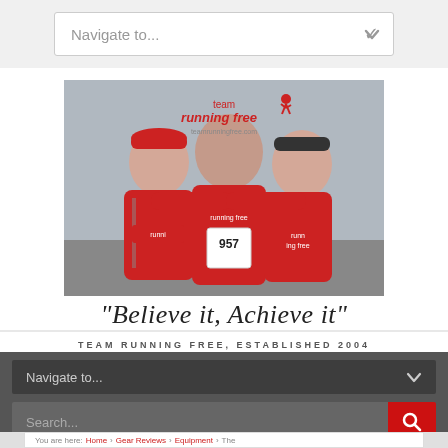Navigate to...
[Figure (photo): Three people wearing red 'running free' jackets posing together. The middle person wears race number 957. Team Running Free logo overlay visible at top.]
"Believe it, Achieve it"
TEAM RUNNING FREE, ESTABLISHED 2004
Navigate to...
Search...
You are here: Home > Gear Reviews > Equipment > The